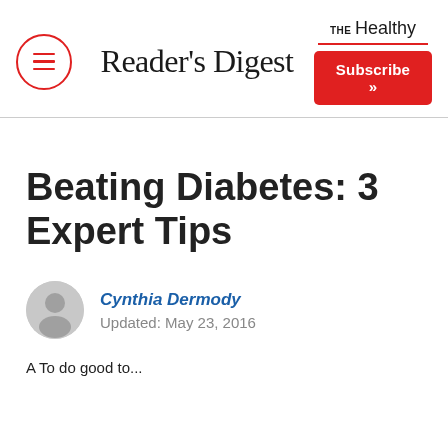Reader's Digest
Beating Diabetes: 3 Expert Tips
Cynthia Dermody
Updated: May 23, 2016
A To do good to...